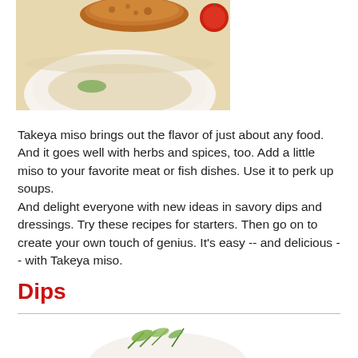[Figure (photo): Photo of a fried food item being dipped into a white bowl, with a red tomato accent in the top right corner.]
Takeya miso brings out the flavor of just about any food. And it goes well with herbs and spices, too. Add a little miso to your favorite meat or fish dishes. Use it to perk up soups.
And delight everyone with new ideas in savory dips and dressings. Try these recipes for starters. Then go on to create your own touch of genius. It's easy -- and delicious -- with Takeya miso.
Dips
[Figure (photo): Partial photo of a white bowl with herbs/garnish on top, cropped at the bottom of the page.]